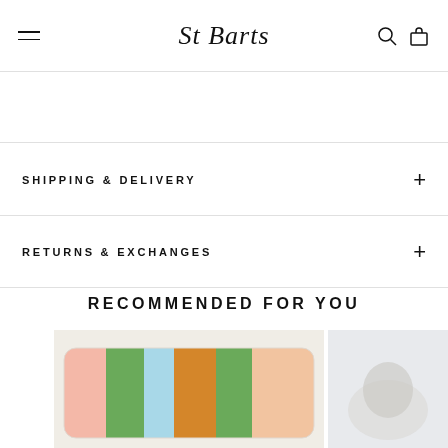St Barts
SHIPPING & DELIVERY
RETURNS & EXCHANGES
RECOMMENDED FOR YOU
[Figure (photo): Colorful striped cushion/pillow with green, pink, orange, and blue vertical stripes on a light background]
[Figure (photo): Partially visible product image on the right side]